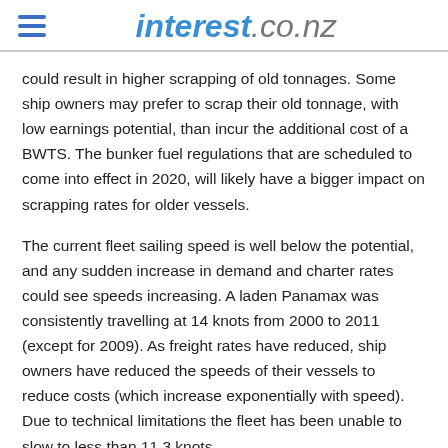interest.co.nz
could result in higher scrapping of old tonnages. Some ship owners may prefer to scrap their old tonnage, with low earnings potential, than incur the additional cost of a BWTS. The bunker fuel regulations that are scheduled to come into effect in 2020, will likely have a bigger impact on scrapping rates for older vessels.
The current fleet sailing speed is well below the potential, and any sudden increase in demand and charter rates could see speeds increasing. A laden Panamax was consistently travelling at 14 knots from 2000 to 2011 (except for 2009). As freight rates have reduced, ship owners have reduced the speeds of their vessels to reduce costs (which increase exponentially with speed). Due to technical limitations the fleet has been unable to slow to less than 11.3 knots.
Klaveness Research indicates the current Panamax speed is